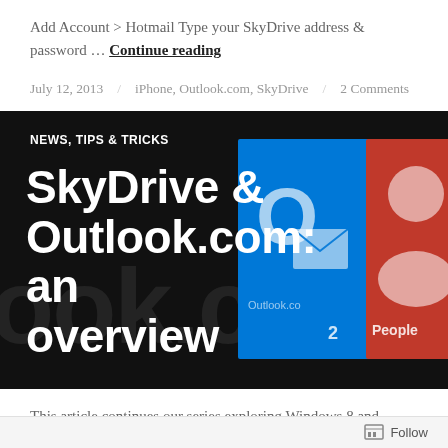Add Account > Hotmail Type your SkyDrive address & password … Continue reading
July 12, 2013 / iPhone, Outlook.com, SkyDrive / 2 Comments
[Figure (screenshot): Dark banner image with Windows 8 tile icons (blue Outlook tile, red People tile) and large white bold text overlay reading 'SkyDrive & Outlook.com: an overview', with category label 'NEWS, TIPS & TRICKS']
This article continues our series exploring Windows 8 and SkyDrive. Read the previous articles here. SkyDrive is the